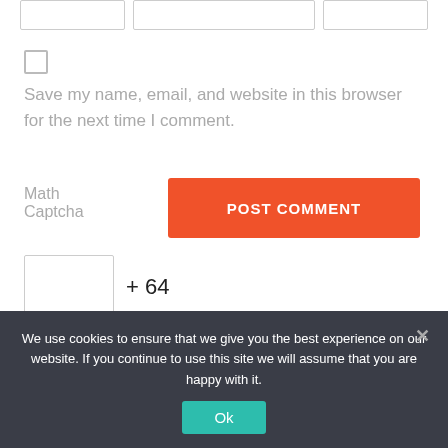[Figure (screenshot): Three horizontal input fields (text boxes) at the top of the page]
[Figure (screenshot): Unchecked checkbox]
Save my name, email, and website in this browser for the next time I comment.
Math
Captcha
[Figure (screenshot): POST COMMENT button in orange]
[Figure (screenshot): Captcha input box with + 64]
Search
We use cookies to ensure that we give you the best experience on our website. If you continue to use this site we will assume that you are happy with it.
[Figure (screenshot): Ok button in teal color]